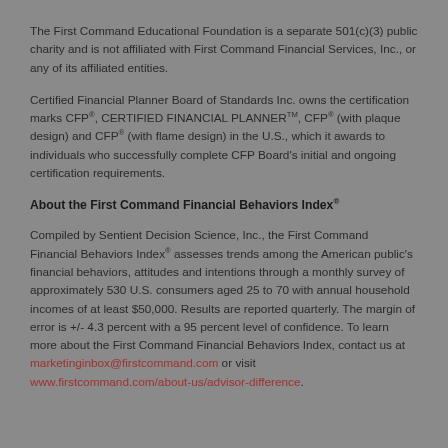The First Command Educational Foundation is a separate 501(c)(3) public charity and is not affiliated with First Command Financial Services, Inc., or any of its affiliated entities.
Certified Financial Planner Board of Standards Inc. owns the certification marks CFP®, CERTIFIED FINANCIAL PLANNER™, CFP® (with plaque design) and CFP® (with flame design) in the U.S., which it awards to individuals who successfully complete CFP Board's initial and ongoing certification requirements.
About the First Command Financial Behaviors Index®
Compiled by Sentient Decision Science, Inc., the First Command Financial Behaviors Index® assesses trends among the American public's financial behaviors, attitudes and intentions through a monthly survey of approximately 530 U.S. consumers aged 25 to 70 with annual household incomes of at least $50,000. Results are reported quarterly. The margin of error is +/- 4.3 percent with a 95 percent level of confidence. To learn more about the First Command Financial Behaviors Index, contact us at marketinginbox@firstcommand.com or visit www.firstcommand.com/about-us/advisor-difference.